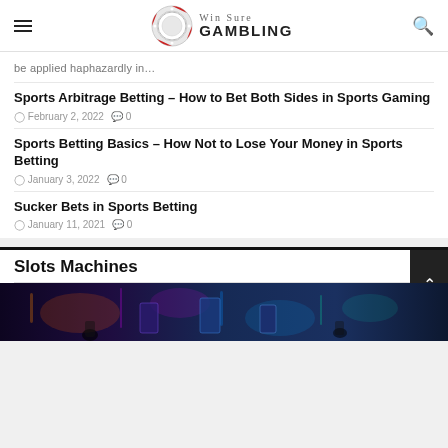Win Sure GAMBLING
be applied haphazardly in...
Sports Arbitrage Betting – How to Bet Both Sides in Sports Gaming
February 2, 2022  0
Sports Betting Basics – How Not to Lose Your Money in Sports Betting
January 3, 2022  0
Sucker Bets in Sports Betting
January 11, 2021  0
Slots Machines
[Figure (photo): Dark interior photo of a casino with slot machines and colorful lights]